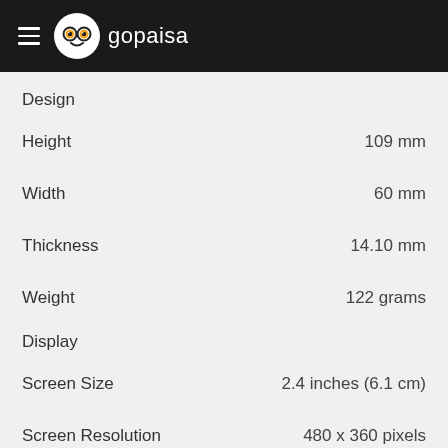gopaisa
Design
Height	109 mm
Width	60 mm
Thickness	14.10 mm
Weight	122 grams
Display
Screen Size	2.4 inches (6.1 cm)
Screen Resolution	480 x 360 pixels